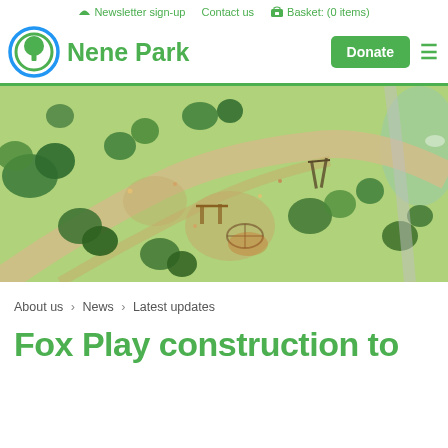Newsletter sign-up   Contact us   Basket: (0 items)
[Figure (logo): Nene Park logo: green tree inside blue and green concentric circles, with 'Nene Park' text in green beside it. Donate button and hamburger menu on right.]
[Figure (illustration): Aerial/bird's-eye illustrated view of a park with playgrounds, trees, paths, green lawns, and a body of water in the background.]
About us > News > Latest updates
Fox Play construction to